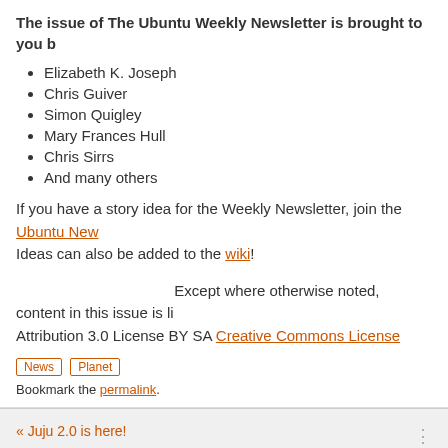The issue of The Ubuntu Weekly Newsletter is brought to you b
Elizabeth K. Joseph
Chris Guiver
Simon Quigley
Mary Frances Hull
Chris Sirrs
And many others
If you have a story idea for the Weekly Newsletter, join the Ubuntu New Ideas can also be added to the wiki!
Except where otherwise noted, content in this issue is lic Attribution 3.0 License BY SA Creative Commons License
News  Planet
Bookmark the permalink.
« Juju 2.0 is here!
Leave a Reply